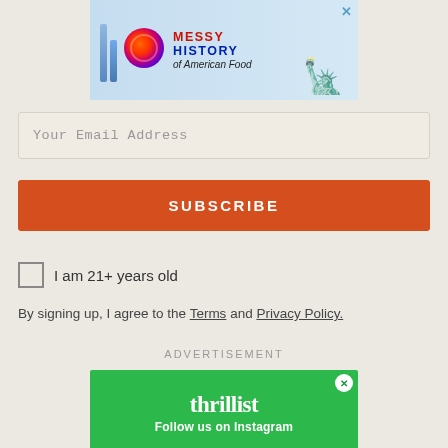[Figure (screenshot): Top advertisement banner with colorful bars, circular logo, 'MESSY HISTORY of American Food' text, Statue of Liberty graphic, and close X button]
Your Email Address
SUBSCRIBE
I am 21+ years old
By signing up, I agree to the Terms and Privacy Policy.
ADVERTISEMENT
[Figure (screenshot): Thrillist advertisement on green background with 'thrillist' logo text and 'Follow us on Instagram' text, with food photo below]